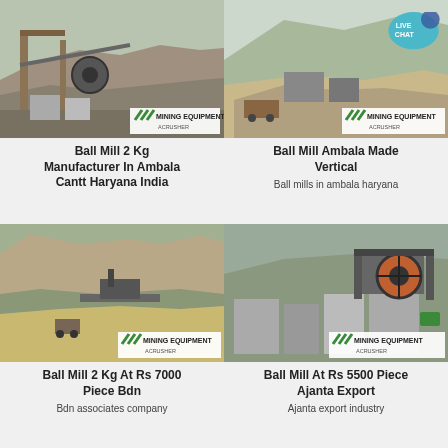[Figure (photo): Mining/quarry equipment photo with crusher machinery - Ball Mill 2 Kg Manufacturer In Ambala Cantt]
Ball Mill 2 Kg Manufacturer In Ambala Cantt Haryana India
[Figure (photo): Open quarry mining site landscape photo - Ball Mill Ambala Made Vertical]
Ball Mill Ambala Made Vertical
Ball mills in ambala haryana
[Figure (photo): Quarry hillside with mining equipment - Ball Mill 2 Kg At Rs 7000]
Ball Mill 2 Kg At Rs 7000 Piece Bdn
Bdn associates company
[Figure (photo): Mining crusher machinery at quarry site - Ball Mill At Rs 5500]
Ball Mill At Rs 5500 Piece Ajanta Export
Ajanta export industry